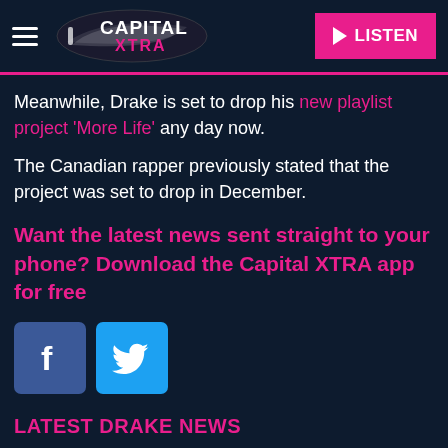Capital XTRA — LISTEN
Meanwhile, Drake is set to drop his new playlist project 'More Life' any day now.
The Canadian rapper previously stated that the project was set to drop in December.
Want the latest news sent straight to your phone? Download the Capital XTRA app for free
[Figure (logo): Facebook and Twitter social share buttons]
LATEST DRAKE NEWS